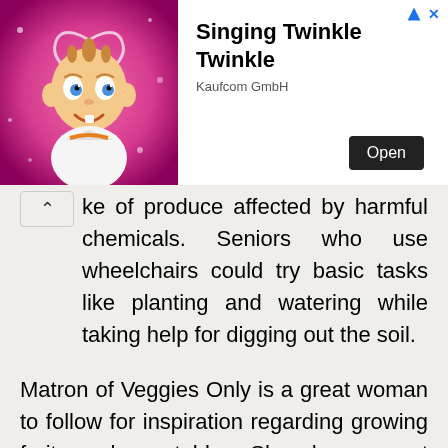[Figure (illustration): Advertisement banner showing a cartoon baby character on a pink sparkly background on the left, and ad text 'Singing Twinkle Twinkle' with 'Open' button and 'Kaufcom GmbH' on the right. Small navigation arrows and X in top-right corner.]
ke of produce affected by harmful chemicals. Seniors who use wheelchairs could try basic tasks like planting and watering while taking help for digging out the soil.
Matron of Veggies Only is a great woman to follow for inspiration regarding growing fruits and vegetables. She shares great tips and tricks, as well as,